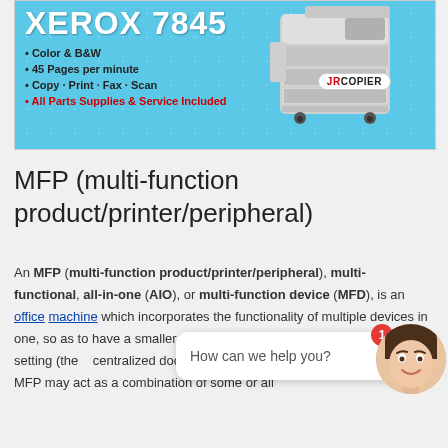[Figure (infographic): Xerox 7845 advertisement banner with light blue diamond-pattern background, bullet points listing features (Color & B&W, 45 Pages per minute, Copy-Print-Fax-Scan, All Parts Supplies & Service Included), an image of a large office multifunction printer on the right, and JR Copier logo badge.]
MFP (multi-function product/printer/peripheral)
An MFP (multi-function product/printer/peripheral), multi-functional, all-in-one (AIO), or multi-function device (MFD), is an office machine which incorporates the functionality of multiple devices in one, so as to have a smaller footprint in a home or small business setting (the... [chat overlay] ...providing centralized document... [chat overlay] ...tion. In an office setting. A typical MFP may act as a combination of some or all
[Figure (infographic): Live chat widget overlay showing a speech bubble with 'How can we help you?' text, a red notification badge with number 1, a close (x) button, and a circular avatar photo of a smiling young woman.]